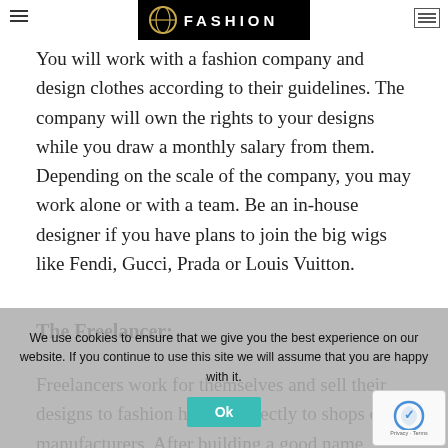[Figure (logo): Black banner with circular gold logo and 'FASHION' text in white letters on black background]
You will work with a fashion company and design clothes according to their guidelines. The company will own the rights to your designs while you draw a monthly salary from them. Depending on the scale of the company, you may work alone or with a team. Be an in-house designer if you have plans to join the big wigs like Fendi, Gucci, Prada or Louis Vuitton.
The Freelancer:
Freelancers work for themselves and sell their designs to fashion houses, directly to shops or to manufacturers. After building a good name, you'll probably start getting people commissioning you for design work. Freelance Designers have the flexibility of work hours and tend to command higher wages, but keep in mind that financial stability high risk. If you're just starting out, it's best to work as an in-
We use cookies to ensure that we give you the best experience on our website. If you continue to use this site we will assume that you are happy with it.